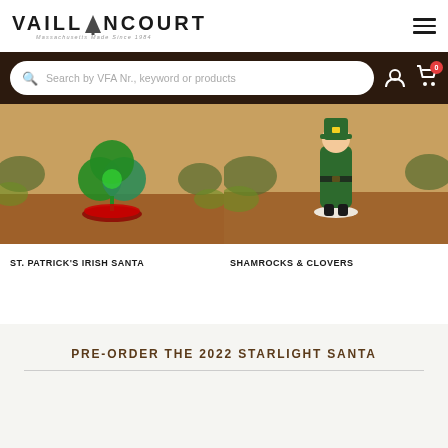VAILLANCOURT — Massachusetts Made Since 1984
Search by VFA Nr., keyword or products
[Figure (photo): Product photo of ST. PATRICK'S IRISH SANTA figurine — a shamrock/clover shaped chalkware piece on a red base with greenery background]
ST. PATRICK'S IRISH SANTA
[Figure (photo): Product photo of SHAMROCKS & CLOVERS figurine — a green Santa-like figure standing on a white base with greenery background]
SHAMROCKS & CLOVERS
PRE-ORDER THE 2022 STARLIGHT SANTA